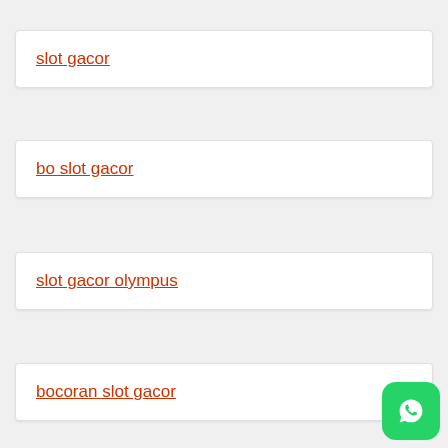slot gacor
bo slot gacor
slot gacor olympus
bocoran slot gacor